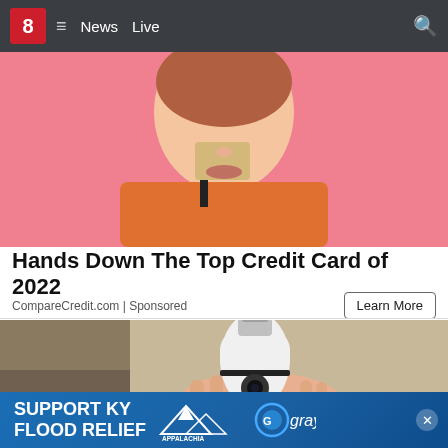8  ≡  News  Live
[Figure (photo): Woman holding a gold/tan credit card in front of her face against a pink background, wearing an orange top]
Hands Down The Top Credit Card of 2022
CompareCredit.com | Sponsored
[Figure (photo): A hand holding a white smart light bulb camera device against a beige/brown cardboard background]
[Figure (infographic): SUPPORT KY FLOOD RELIEF banner with Appalachia Rises logo and Gray logo]